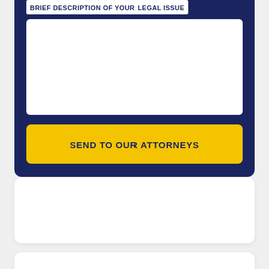BRIEF DESCRIPTION OF YOUR LEGAL ISSUE
[Figure (other): Empty white text area input box for user to type their legal issue description]
SEND TO OUR ATTORNEYS
[Figure (other): White card panel (empty)]
$1.5 MILLION